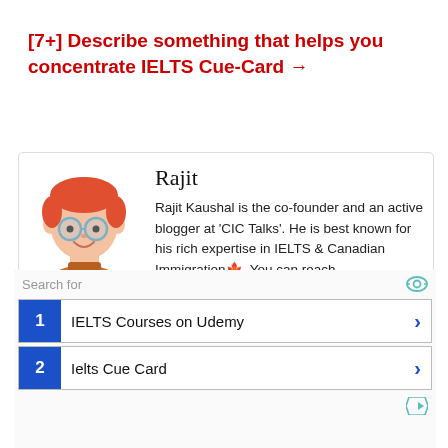[7+] Describe something that helps you concentrate IELTS Cue-Card →
[Figure (illustration): Cartoon avatar of a young man with red hair, round glasses, and an orange sweater, smiling]
Rajit
Rajit Kaushal is the co-founder and an active blogger at 'CIC Talks'. He is best known for his rich expertise in IELTS & Canadian Immigration🍁. You can reach out to him at Instagram & Twitter.
[Figure (screenshot): Ad unit: Search for - 1. IELTS Courses on Udemy, 2. Ielts Cue Card]